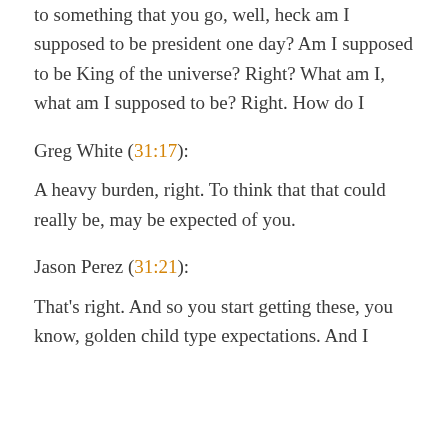to something that you go, well, heck am I supposed to be president one day? Am I supposed to be King of the universe? Right? What am I, what am I supposed to be? Right. How do I
Greg White (31:17):
A heavy burden, right. To think that that could really be, may be expected of you.
Jason Perez (31:21):
That's right. And so you start getting these, you know, golden child type expectations. And I think, you know, there are still I...